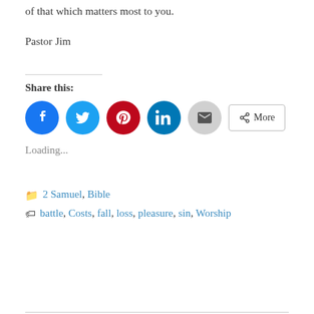of that which matters most to you.
Pastor Jim
Share this:
[Figure (other): Social share buttons: Facebook, Twitter, Pinterest, LinkedIn, Email, and More]
Loading...
2 Samuel, Bible
battle, Costs, fall, loss, pleasure, sin, Worship